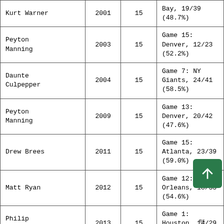| Player | Year | Game | Low Game |
| --- | --- | --- | --- |
| Kurt Warner | 2001 | 15 | Bay, 19/39 (48.7%) |
| Peyton Manning | 2003 | 15 | Game 15: Denver, 12/23 (52.2%) |
| Daunte Culpepper | 2004 | 15 | Game 7: NY Giants, 24/41 (58.5%) |
| Peyton Manning | 2009 | 15 | Game 13: Denver, 20/42 (47.6%) |
| Drew Brees | 2011 | 15 | Game 15: Atlanta, 23/39 (59.0%) |
| Matt Ryan | 2012 | 15 | Game 12: New Orleans, 18/33 (54.6%) |
| Philip Rivers | 2013 | 15 | Game 1: Houston, 14/29 (48.3%) |
|  |  |  | None (only... |